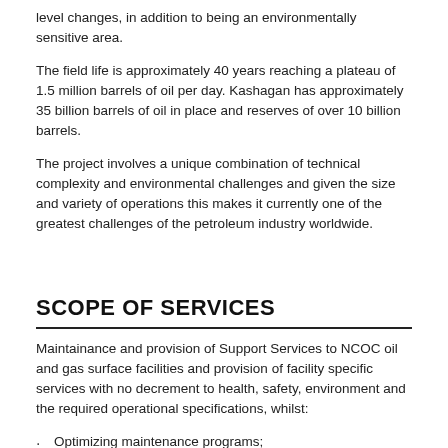level changes, in addition to being an environmentally sensitive area.
The field life is approximately 40 years reaching a plateau of 1.5 million barrels of oil per day. Kashagan has approximately 35 billion barrels of oil in place and reserves of over 10 billion barrels.
The project involves a unique combination of technical complexity and environmental challenges and given the size and variety of operations this makes it currently one of the greatest challenges of the petroleum industry worldwide.
SCOPE OF SERVICES
Maintainance and provision of Support Services to NCOC oil and gas surface facilities and provision of facility specific services with no decrement to health, safety, environment and the required operational specifications, whilst:
Optimizing maintenance programs;
Meet or improve on the integrated activity plan and maintenance schedules;
Meet or reduce cost against estimates ensuring optimal life cycle